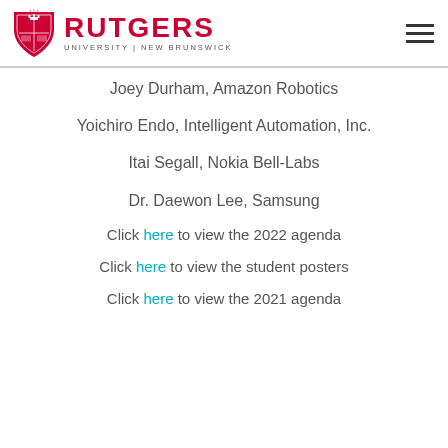Rutgers University | New Brunswick
Joey Durham, Amazon Robotics
Yoichiro Endo, Intelligent Automation, Inc.
Itai Segall, Nokia Bell-Labs
Dr. Daewon Lee, Samsung
Click here to view the 2022 agenda
Click here to view the student posters
Click here to view the 2021 agenda